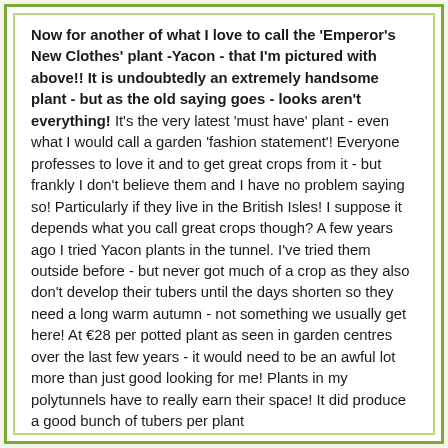Now for another of what I love to call the 'Emperor's New Clothes' plant -Yacon - that I'm pictured with above!! It is undoubtedly an extremely handsome plant - but as the old saying goes - looks aren't everything! It's the very latest 'must have' plant - even what I would call a garden 'fashion statement'! Everyone professes to love it and to get great crops from it - but frankly I don't believe them and I have no problem saying so! Particularly if they live in the British Isles! I suppose it depends what you call great crops though? A few years ago I tried Yacon plants in the tunnel. I've tried them outside before - but never got much of a crop as they also don't develop their tubers until the days shorten so they need a long warm autumn - not something we usually get here! At €28 per potted plant as seen in garden centres over the last few years - it would need to be an awful lot more than just good looking for me! Plants in my polytunnels have to really earn their space! It did produce a good bunch of tubers per plant